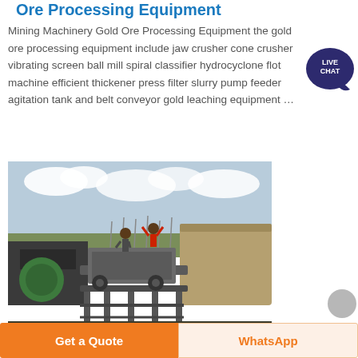Ore Processing Equipment
Mining Machinery Gold Ore Processing Equipment the gold ore processing equipment include jaw crusher cone crusher vibrating screen ball mill spiral classifier hydrocyclone flotation machine efficient thickener press filter slurry pump feeder agitation tank and belt conveyor gold leaching equipment …
[Figure (photo): Photograph of a mining ore processing plant with workers standing on top of large industrial equipment including conveyor belts, tanks, and processing machinery under a partly cloudy sky.]
Get a Quote
WhatsApp